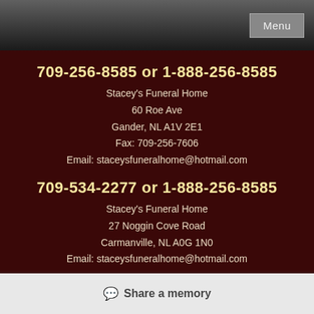Menu
709-256-8585 or 1-888-256-8585
Stacey's Funeral Home
60 Roe Ave
Gander, NL A1V 2E1
Fax: 709-256-7606
Email: staceysfuneralhome@hotmail.com
709-534-2277 or 1-888-256-8585
Stacey's Funeral Home
27 Noggin Cove Road
Carmanville, NL A0G 1N0
Email: staceysfuneralhome@hotmail.com
Share a memory